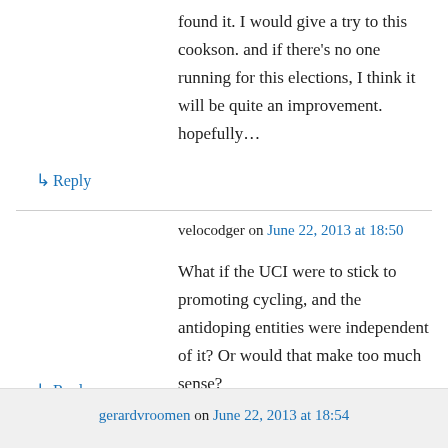found it. I would give a try to this cookson. and if there's no one running for this elections, I think it will be quite an improvement. hopefully…
↳ Reply
velocodger on June 22, 2013 at 18:50
What if the UCI were to stick to promoting cycling, and the antidoping entities were independent of it? Or would that make too much sense?
↳ Reply
gerardvroomen on June 22, 2013 at 18:54